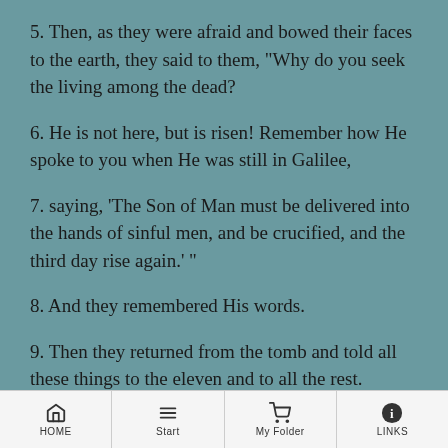5. Then, as they were afraid and bowed their faces to the earth, they said to them, "Why do you seek the living among the dead?
6. He is not here, but is risen! Remember how He spoke to you when He was still in Galilee,
7. saying, 'The Son of Man must be delivered into the hands of sinful men, and be crucified, and the third day rise again.' "
8. And they remembered His words.
9. Then they returned from the tomb and told all these things to the eleven and to all the rest.
HOME | Start | My Folder | LINKS